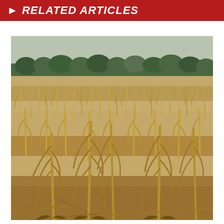> RELATED ARTICLES
[Figure (photo): A drought-stricken corn field with withered, dead corn stalks standing in dry cracked soil. Trees line the horizon under an overcast sky.]